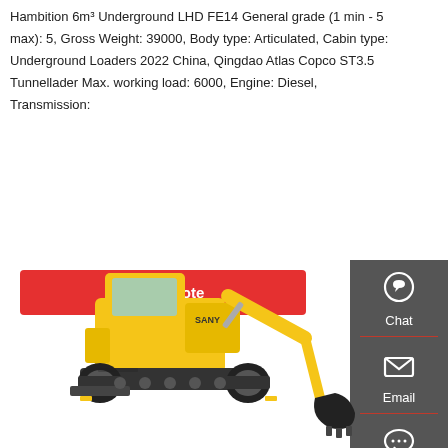Hambition 6m³ Underground LHD FE14 General grade (1 min - 5 max): 5, Gross Weight: 39000, Body type: Articulated, Cabin type: Underground Loaders 2022 China, Qingdao Atlas Copco ST3.5 Tunnellader Max. working load: 6000, Engine: Diesel, Transmission:
Get a quote
[Figure (illustration): Sidebar widget with Chat, Email, and Contact icons on a dark gray background]
[Figure (photo): Yellow SANY tracked excavator/crawler with articulated arm and bucket, shown on white background]